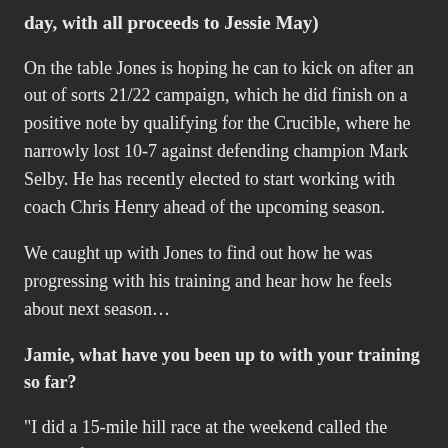day, with all proceeds to Jessie May)
On the table Jones is hoping he can to kick on after an out of sorts 21/22 campaign, which he did finish on a positive note by qualifying for the Crucible, where he narrowly lost 10-7 against defending champion Mark Selby. He has recently elected to start working with coach Chris Henry ahead of the upcoming season.
We caught up with Jones to find out how he was progressing with his training and hear how he feels about next season…
Jamie, what have you been up to with your training so far?
“I did a 15-mile hill race at the weekend called the Beast of Bryn. It is in the Welsh valleys near where we live and